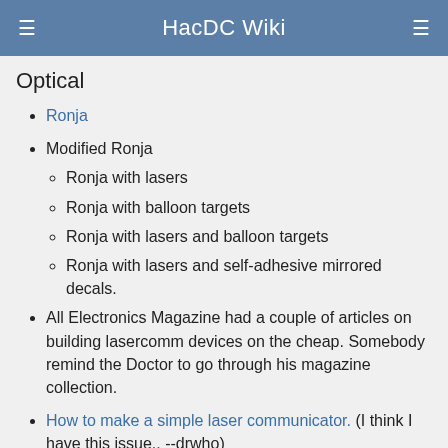HacDC Wiki
Optical
Ronja
Modified Ronja
Ronja with lasers
Ronja with balloon targets
Ronja with lasers and balloon targets
Ronja with lasers and self-adhesive mirrored decals.
All Electronics Magazine had a couple of articles on building lasercomm devices on the cheap. Somebody remind the Doctor to go through his magazine collection.
How to make a simple laser communicator. (I think I have this issue.. --drwho)
Homework